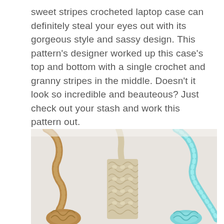sweet stripes crocheted laptop case can definitely steal your eyes out with its gorgeous style and sassy design. This pattern's designer worked up this case's top and bottom with a single crochet and granny stripes in the middle. Doesn't it look so incredible and beauteous? Just check out your stash and work this pattern out.
[Figure (photo): Three crocheted items laid on a white surface: a tan/brown crocheted strap/case on the left, a cream/beige crocheted piece with lace pattern in the middle, and a light blue crocheted strap/case on the right.]